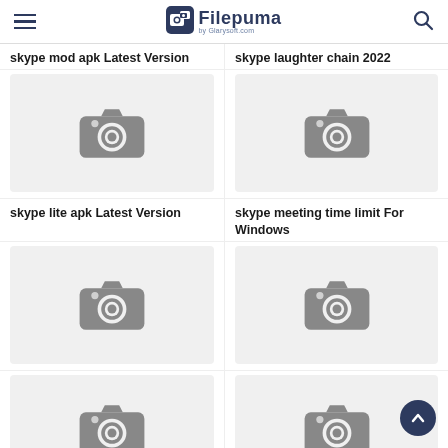Filepuma by Glarysoft.com
skype mod apk Latest Version
[Figure (photo): Placeholder camera icon image for skype mod apk Latest Version]
skype laughter chain 2022
[Figure (photo): Placeholder camera icon image for skype laughter chain 2022]
skype lite apk Latest Version
[Figure (photo): Placeholder camera icon image for skype lite apk Latest Version]
skype meeting time limit For Windows
[Figure (photo): Placeholder camera icon image for skype meeting time limit For Windows]
[Figure (photo): Placeholder camera icon image (bottom left)]
[Figure (photo): Placeholder camera icon image (bottom right)]